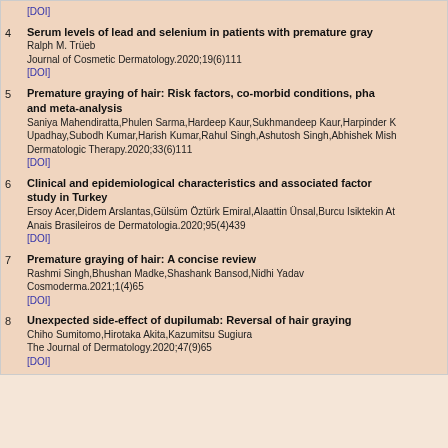[DOI]
4. Serum levels of lead and selenium in patients with premature graying
Ralph M. Trüeb
Journal of Cosmetic Dermatology.2020;19(6)111
[DOI]
5. Premature graying of hair: Risk factors, co-morbid conditions, pha and meta-analysis
Saniya Mahendiratta,Phulen Sarma,Hardeep Kaur,Sukhmandeep Kaur,Harpinder K Upadhay,Subodh Kumar,Harish Kumar,Rahul Singh,Ashutosh Singh,Abhishek Mish
Dermatologic Therapy.2020;33(6)111
[DOI]
6. Clinical and epidemiological characteristics and associated factor study in Turkey
Ersoy Acer,Didem Arslantas,Gülsüm Öztürk Emiral,Alaattin Ünsal,Burcu Isiktekin At
Anais Brasileiros de Dermatologia.2020;95(4)439
[DOI]
7. Premature graying of hair: A concise review
Rashmi Singh,Bhushan Madke,Shashank Bansod,Nidhi Yadav
Cosmoderma.2021;1(4)65
[DOI]
8. Unexpected side-effect of dupilumab: Reversal of hair graying
Chiho Sumitomo,Hirotaka Akita,Kazumitsu Sugiura
The Journal of Dermatology.2020;47(9)65
[DOI]